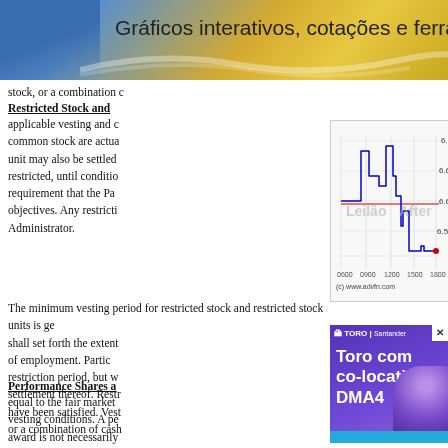Gráficos interativos, cotações e ferram...
stock, or a combination c...
Restricted Stock and ...
applicable vesting and c... common stock are actua... unit may also be settled... restricted, until conditio... requirement that the Pa... objectives. Any restricti... Administrator.
[Figure (continuous-plot): Stock price intraday chart showing blue step line with Leilão and After watermark labels, red horizontal reference line, red dot at bottom right. Y-axis: 6.55 to 6.7. X-axis: 0600 to 1800. Source: (c) www.advfn.com]
The minimum vesting period for restricted stock and restricted stock units is ge... shall set forth the extent... of employment. Partic... restriction period, but w... settlement thereof. Restr... have been satisfied. Vest... or a combination of cash...
[Figure (illustration): Toro Investimentos advertisement with co-location DMA4 text, purple gradient background, person image, Toro logo and Santander logo, blue bottom bar.]
Performance Shares a...
equal to the fair market... vesting conditions. A pe... award is not necessarily...